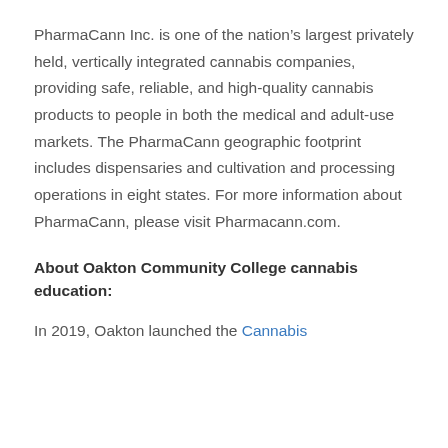PharmaCann Inc. is one of the nation's largest privately held, vertically integrated cannabis companies, providing safe, reliable, and high-quality cannabis products to people in both the medical and adult-use markets. The PharmaCann geographic footprint includes dispensaries and cultivation and processing operations in eight states. For more information about PharmaCann, please visit Pharmacann.com.
About Oakton Community College cannabis education:
In 2019, Oakton launched the Cannabis